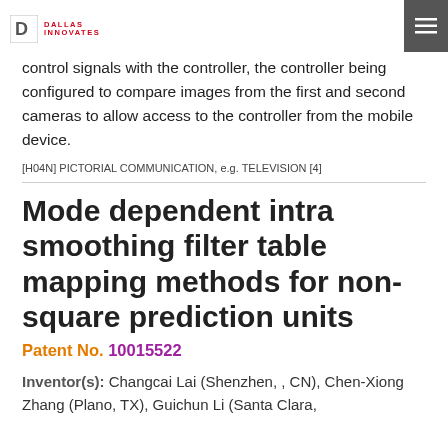Dallas Innovates
control signals with the controller, the controller being configured to compare images from the first and second cameras to allow access to the controller from the mobile device.
[H04N] PICTORIAL COMMUNICATION, e.g. TELEVISION [4]
Mode dependent intra smoothing filter table mapping methods for non-square prediction units
Patent No. 10015522
Inventor(s): Changcai Lai (Shenzhen, , CN), Chen-Xiong Zhang (Plano, TX), Guichun Li (Santa Clara,